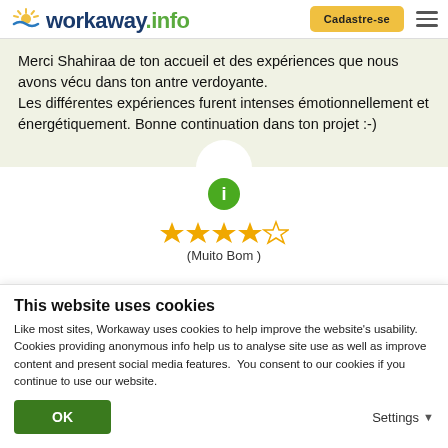[Figure (logo): Workaway.info logo with sun icon]
Cadastre-se
Merci Shahiraa de ton accueil et des expériences que nous avons vécu dans ton antre verdoyante.
Les différentes expériences furent intenses émotionnellement et énergétiquement. Bonne continuation dans ton projet :-)
[Figure (infographic): Info icon (i) in green circle]
[Figure (infographic): 4 out of 5 stars rating]
(Muito Bom )
This website uses cookies
Like most sites, Workaway uses cookies to help improve the website's usability. Cookies providing anonymous info help us to analyse site use as well as improve content and present social media features.  You consent to our cookies if you continue to use our website.
OK
Settings